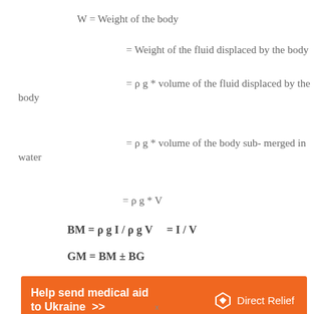[Figure (infographic): Orange advertisement banner: 'Help send medical aid to Ukraine >>' with Direct Relief logo on the right]